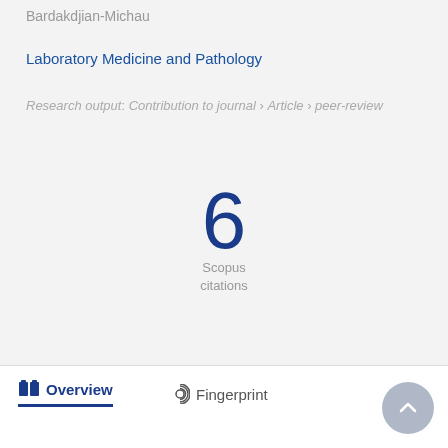Bardakdjian-Michau
Laboratory Medicine and Pathology
Research output: Contribution to journal › Article › peer-review
[Figure (infographic): Large number '6' in dark blue with 'Scopus citations' label below]
Overview
Fingerprint